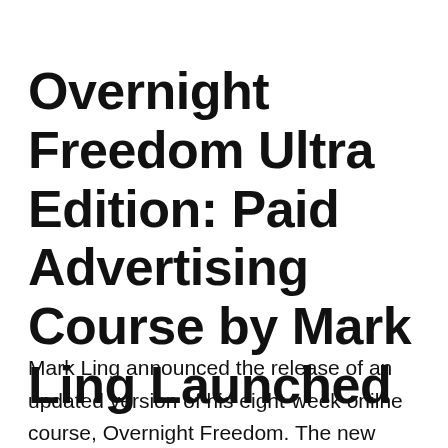Overnight Freedom Ultra Edition: Paid Advertising Course by Mark Ling Launched
Mark Ling announced the release of an updated version of his eight-week onilne course, Overnight Freedom. The new edition provides students with